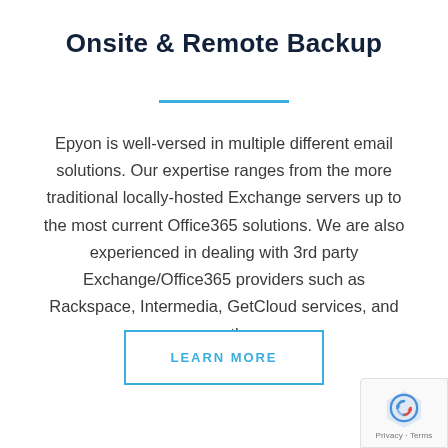Onsite & Remote Backup
Epyon is well-versed in multiple different email solutions. Our expertise ranges from the more traditional locally-hosted Exchange servers up to the most current Office365 solutions. We are also experienced in dealing with 3rd party Exchange/Office365 providers such as Rackspace, Intermedia, GetCloud services, and many others.
LEARN MORE